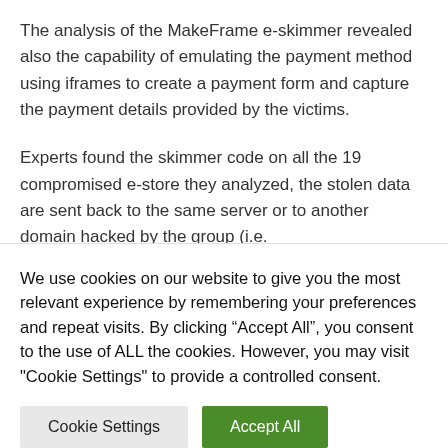The analysis of the MakeFrame e-skimmer revealed also the capability of emulating the payment method using iframes to create a payment form and capture the payment details provided by the victims.
Experts found the skimmer code on all the 19 compromised e-store they analyzed, the stolen data are sent back to the same server or to another domain hacked by the group (i.e. piscinasecologicas[.]com) in the form of a .php file. This exfiltration method was observed in past
We use cookies on our website to give you the most relevant experience by remembering your preferences and repeat visits. By clicking “Accept All”, you consent to the use of ALL the cookies. However, you may visit "Cookie Settings" to provide a controlled consent.